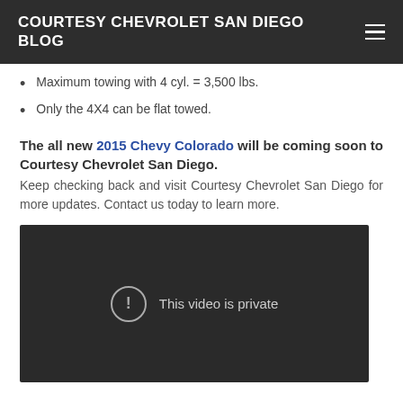COURTESY CHEVROLET SAN DIEGO BLOG
Maximum towing with 4 cyl. = 3,500 lbs.
Only the 4X4 can be flat towed.
The all new 2015 Chevy Colorado will be coming soon to Courtesy Chevrolet San Diego.
Keep checking back and visit Courtesy Chevrolet San Diego for more updates. Contact us today to learn more.
[Figure (screenshot): Embedded video player showing a private video message: 'This video is private']